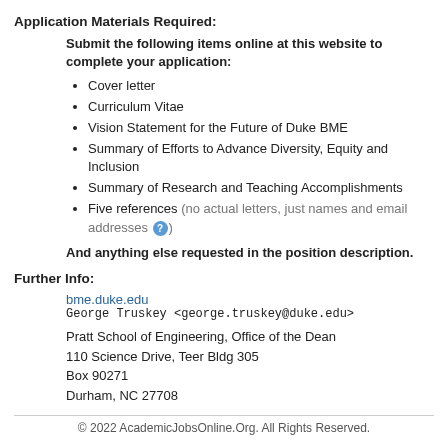Application Materials Required:
Submit the following items online at this website to complete your application:
Cover letter
Curriculum Vitae
Vision Statement for the Future of Duke BME
Summary of Efforts to Advance Diversity, Equity and Inclusion
Summary of Research and Teaching Accomplishments
Five references (no actual letters, just names and email addresses ?)
And anything else requested in the position description.
Further Info:
bme.duke.edu
George Truskey <george.truskey@duke.edu>
Pratt School of Engineering, Office of the Dean
110 Science Drive, Teer Bldg 305
Box 90271
Durham, NC 27708
© 2022 AcademicJobsOnline.Org. All Rights Reserved.